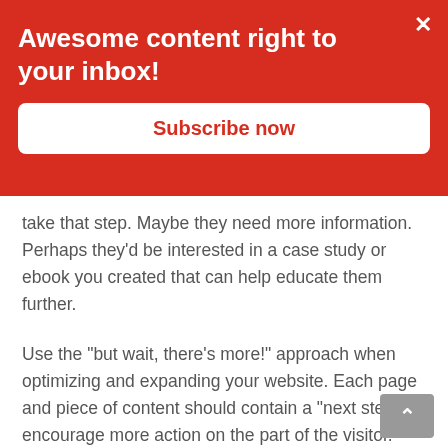Awesome content right to your inbox!
Subscribe now
take that step. Maybe they need more information. Perhaps they'd be interested in a case study or ebook you created that can help educate them further.
Use the "but wait, there's more!" approach when optimizing and expanding your website. Each page and piece of content should contain a "next step" to encourage more action on the part of the visitor.